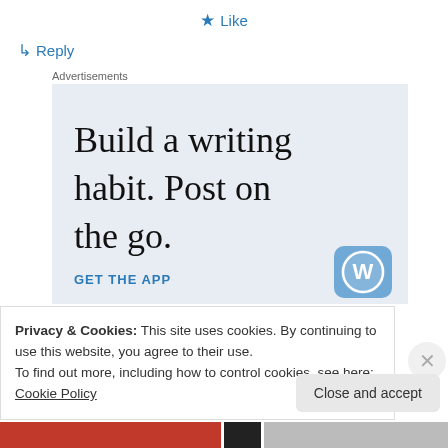★ Like
↳ Reply
Advertisements
[Figure (illustration): WordPress advertisement showing text 'Build a writing habit. Post on the go.' with 'GET THE APP' call to action and WordPress logo icon on light blue-grey background]
Privacy & Cookies: This site uses cookies. By continuing to use this website, you agree to their use.
To find out more, including how to control cookies, see here: Cookie Policy
Close and accept